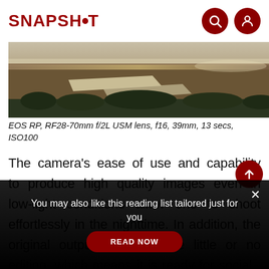SNAPSHOT
[Figure (photo): Aerial or landscape photo showing a road/runway with light-colored markings on a dark brown/tan surface, with trees visible at the far edge and a pale sky.]
EOS RP, RF28-70mm f/2L USM lens, f16, 39mm, 13 secs, ISO100
The camera's ease of use and capability to produce high quality images even in low-light conditions allow one to shoot effortlessly in the nighttime. In addition, the original output shots require little or no editing, which means it is ready for social
You may also like this reading list tailored just for you
READ NOW